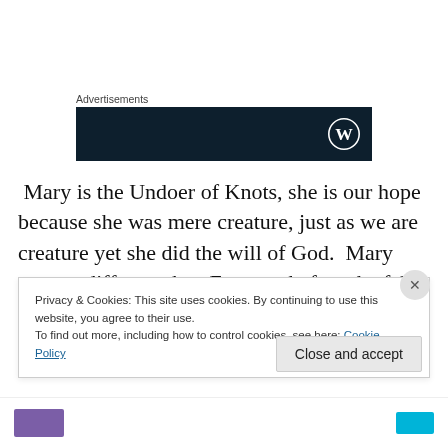Advertisements
[Figure (logo): Dark navy advertisement banner with WordPress logo (W in circle) on right side]
Mary is the Undoer of Knots, she is our hope because she was mere creature, just as we are creature yet she did the will of God.  Mary was no different than Eve was before the fall in that both were immaculate and without
Privacy & Cookies: This site uses cookies. By continuing to use this website, you agree to their use.
To find out more, including how to control cookies, see here: Cookie Policy
Close and accept